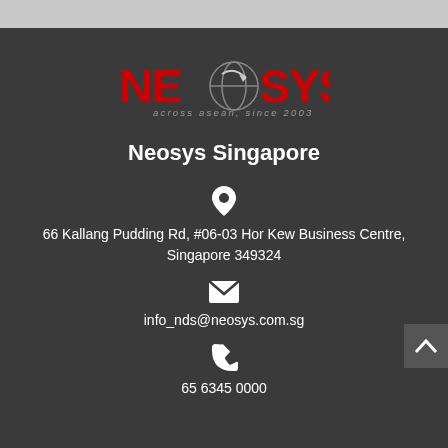[Figure (logo): Neosys logo in red text with globe/arrow icon, tagline 'across asean, since 2003']
Neosys Singapore
66 Kallang Pudding Rd, #06-03 Hor Kew Business Centre, Singapore 349324
info_nds@neosys.com.sg
65 6345 0000